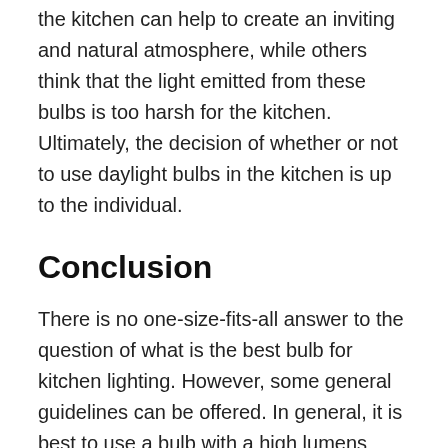the kitchen can help to create an inviting and natural atmosphere, while others think that the light emitted from these bulbs is too harsh for the kitchen. Ultimately, the decision of whether or not to use daylight bulbs in the kitchen is up to the individual.
Conclusion
There is no one-size-fits-all answer to the question of what is the best bulb for kitchen lighting. However, some general guidelines can be offered. In general, it is best to use a bulb with a high lumens rating for kitchen lighting. This will ensure that the kitchen is adequately illuminated. It is also important to use a bulb that is compatible with the